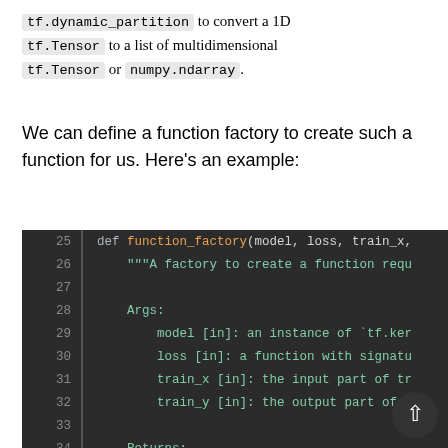tf.dynamic_partition to convert a 1D tf.Tensor to a list of multidimensional tf.Tensor or numpy.ndarray.
We can define a function factory to create such a function for us. Here's an example:
[Figure (screenshot): Dark-themed code editor screenshot showing Python code for a function_factory definition with docstring. Lines 25-37 visible. Line 25: def function_factory(model, loss, train_x, ... Line 26: """A factory to create a function requ... Lines 28-32: Args: model [in], loss [in], train_x [in], train_y [in]. Lines 34-36: Returns: A function that has a signature of ... loss_value, gradients = f(m... Line 37: """]